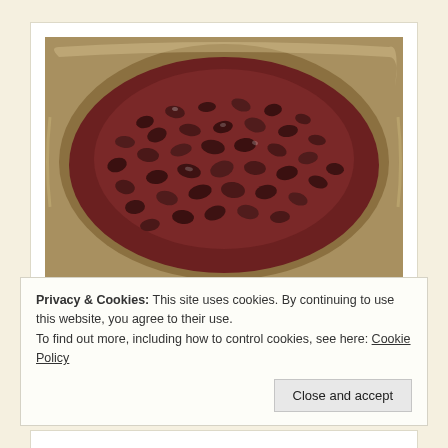[Figure (photo): A close-up photo of cooked black beans in a metal pot, showing glossy dark red/black beans in a rich, dark reddish-brown liquid.]
Black beans cooked
Privacy & Cookies: This site uses cookies. By continuing to use this website, you agree to their use.
To find out more, including how to control cookies, see here: Cookie Policy
Close and accept